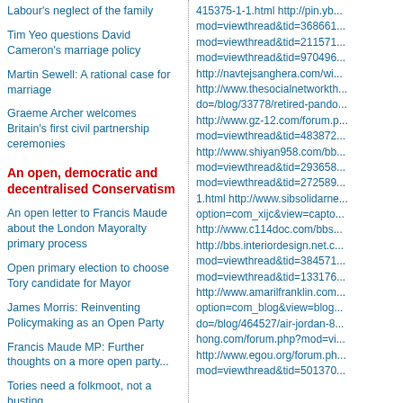Labour's neglect of the family
Tim Yeo questions David Cameron's marriage policy
Martin Sewell: A rational case for marriage
Graeme Archer welcomes Britain's first civil partnership ceremonies
An open, democratic and decentralised Conservatism
An open letter to Francis Maude about the London Mayoralty primary process
Open primary election to choose Tory candidate for Mayor
James Morris: Reinventing Policymaking as an Open Party
Francis Maude MP: Further thoughts on a more open party...
Tories need a folkmoot, not a husting
Francis Maude MP: Towards a more open Conservative Party
415375-1-1.html http://pin.yb... mod=viewthread&tid=368661... mod=viewthread&tid=211571... mod=viewthread&tid=970496... http://navtejsanghera.com/wi... http://www.thesocialnetworkth... do=/blog/33778/retired-pando... http://www.gz-12.com/forum.p... mod=viewthread&tid=483872... http://www.shiyan958.com/bb... mod=viewthread&tid=293658... mod=viewthread&tid=272589... 1.html http://www.sibsolidarne... option=com_xijc&view=capto... http://www.c114doc.com/bbs... http://bbs.interiordesign.net.c... mod=viewthread&tid=384571... mod=viewthread&tid=133176... http://www.amarilfranklin.com... option=com_blog&view=blog... do=/blog/464527/air-jordan-8... hong.com/forum.php?mod=vi... http://www.egou.org/forum.ph... mod=viewthread&tid=501370...